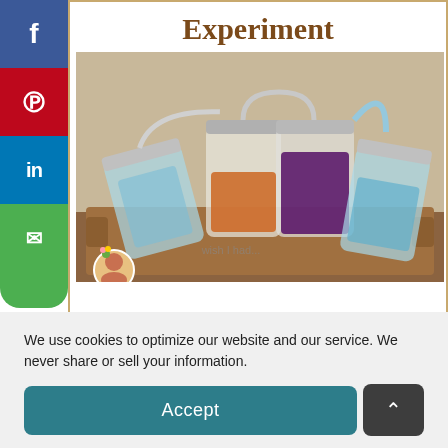Experiment
[Figure (photo): Photo of mason jars with colorful liquids (blue, orange, purple, blue) connected by tubes on a wooden tray, demonstrating a science experiment]
We use cookies to optimize our website and our service. We never share or sell your information.
Accept